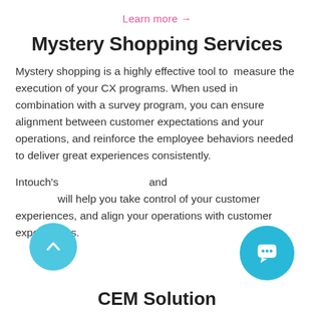Learn more →
Mystery Shopping Services
Mystery shopping is a highly effective tool to measure the execution of your CX programs. When used in combination with a survey program, you can ensure alignment between customer expectations and your operations, and reinforce the employee behaviors needed to deliver great experiences consistently.
Intouch's and will help you take control of your customer experiences, and align your operations with customer expectations.
CEM Solution